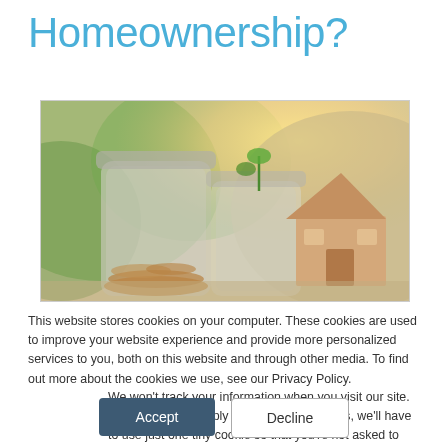Homeownership?
[Figure (photo): Photo of glass jars with coins and a small wooden house figurine on a blurred green and warm background, representing savings for homeownership.]
This website stores cookies on your computer. These cookies are used to improve your website experience and provide more personalized services to you, both on this website and through other media. To find out more about the cookies we use, see our Privacy Policy.
We won't track your information when you visit our site. But in order to comply with your preferences, we'll have to use just one tiny cookie so that you're not asked to make this choice again.
Accept
Decline